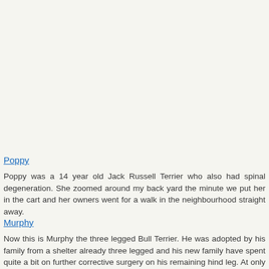Poppy
Poppy was a 14 year old Jack Russell Terrier who also had spinal degeneration. She zoomed around my back yard the minute we put her in the cart and her owners went for a walk in the neighbourhood straight away.
Murphy
Now this is Murphy the three legged Bull Terrier. He was adopted by his family from a shelter already three legged and his new family have spent quite a bit on further corrective surgery on his remaining hind leg. At only 6 years of age Murphy can get around very well on his three legs but his owners got him a cart to take off some of the strain and to help him remain mobi